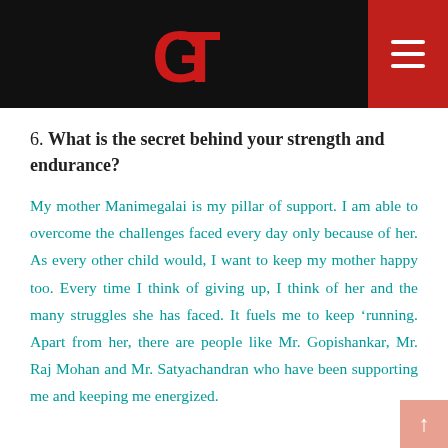GT logo and navigation header
6. What is the secret behind your strength and endurance?
My mother Manimegalai is my pillar of support. I am able to overcome the challenges faced every day only because of her. As every other child would, I want to keep my mother happy too. Every time I think of giving up, I think of her and the many struggles she has faced. It fuels me to keep ‘running. Apart from her, there are people like Mr. Gopishankar, Mr. Raj Mohan and Mr. Satyachandran who have been supporting me and keeping me energized.